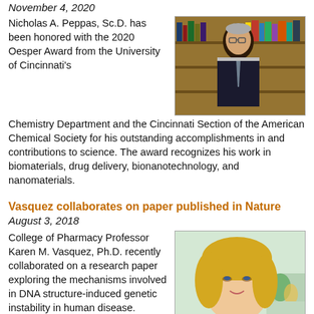November 4, 2020
[Figure (photo): Portrait photo of Nicholas A. Peppas, an older man in a dark suit standing in front of bookshelves]
Nicholas A. Peppas, Sc.D. has been honored with the 2020 Oesper Award from the University of Cincinnati's Chemistry Department and the Cincinnati Section of the American Chemical Society for his outstanding accomplishments in and contributions to science. The award recognizes his work in biomaterials, drug delivery, bionanotechnology, and nanomaterials.
Vasquez collaborates on paper published in Nature
August 3, 2018
[Figure (photo): Portrait photo of Karen M. Vasquez, a woman with blonde hair in a lab setting]
College of Pharmacy Professor Karen M. Vasquez, Ph.D. recently collaborated on a research paper exploring the mechanisms involved in DNA structure-induced genetic instability in human disease. "Mechanisms of genetic instability caused by (CGG)n